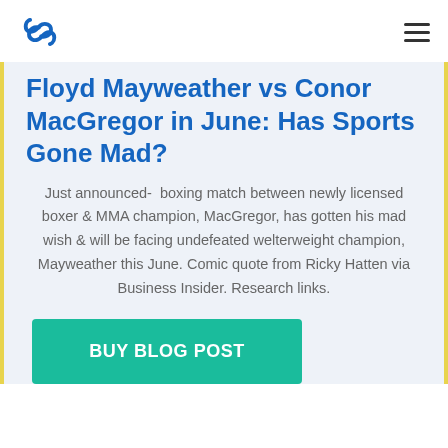Floyd Mayweather vs Conor MacGregor in June: Has Sports Gone Mad?
Just announced- boxing match between newly licensed boxer & MMA champion, MacGregor, has gotten his mad wish & will be facing undefeated welterweight champion, Mayweather this June. Comic quote from Ricky Hatten via Business Insider. Research links.
BUY BLOG POST